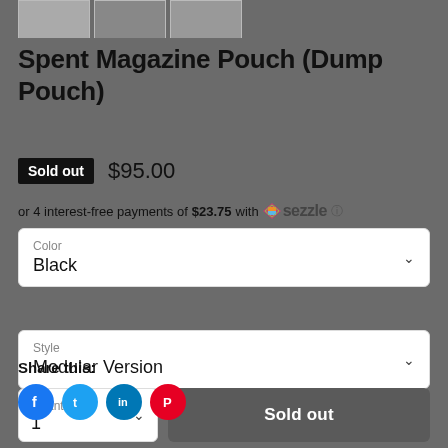[Figure (photo): Three small product thumbnail images at the top of the page]
Spent Magazine Pouch (Dump Pouch)
Sold out  $95.00
or 4 interest-free payments of $23.75 with Sezzle
Color
Black
Style
Modular Version
Quantity
1
Sold out
Share this: